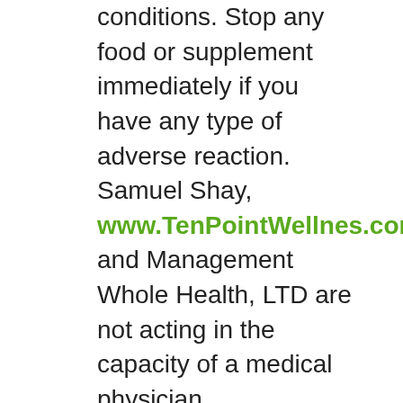conditions. Stop any food or supplement immediately if you have any type of adverse reaction. Samuel Shay, www.TenPointWellnes.com, and Management Whole Health, LTD are not acting in the capacity of a medical physician, psychologist, or licensed dietician. Samuel Shay, www.drsamshay.com, and Management Whole Health, LTD will not diagnose, treat, or cure in any manner, any disease, condition, or other physical or mental human ailment. By entering your email address you are also requesting and agreeing to subscribe to TenPointWellness e-newsletter, to which the above disclaimer also applies.